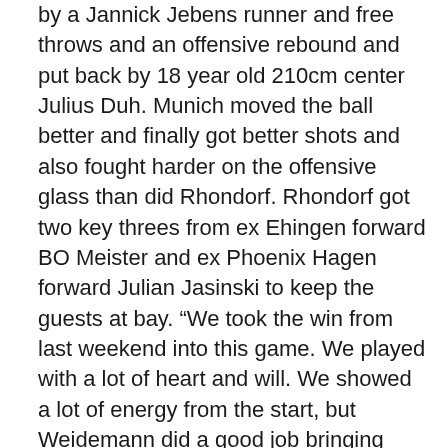by a Jannick Jebens runner and free throws and an offensive rebound and put back by 18 year old 210cm center Julius Duh. Munich moved the ball better and finally got better shots and also fought harder on the offensive glass than did Rhondorf. Rhondorf got two key threes from ex Ehingen forward BO Meister and ex Phoenix Hagen forward Julian Jasinski to keep the guests at bay. “We took the win from last weekend into this game. We played with a lot of heart and will. We showed a lot of energy from the start, but Weidemann did a good job bringing them back into the game with 7 points in 4 minutes”, stressed dragons Rhondorf assistant coach Max Schwamborn. FC Bayern Munich shot 31% from the field and 14% from outside and had 10 rebounds and 7 turnovers while the Dragons Rhondorf shot 41% from the field and 43% from outside and had 8 rebounds and 4 turnovers.